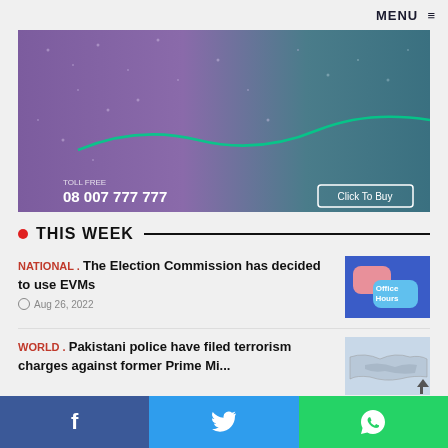MENU ≡
[Figure (photo): Abstract purple and teal gradient background image with a green wave line. Shows toll free number 08 007 777 777 and a 'Click To Buy' button overlay.]
THIS WEEK
NATIONAL . The Election Commission has decided to use EVMs
Aug 26, 2022
[Figure (illustration): Office Hours speech bubble graphic with pink and blue bubbles on blue background]
WORLD . Pakistani police have filed terrorism charges against former Prime Mi...
[Figure (photo): Map image thumbnail]
Facebook  Twitter  WhatsApp